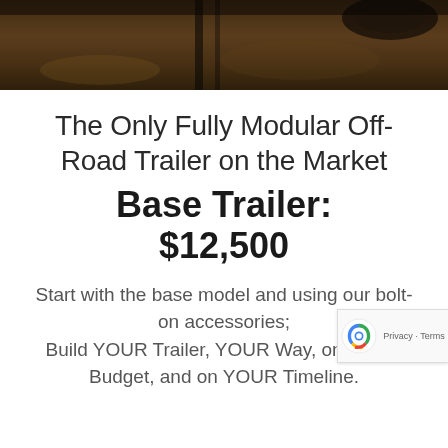[Figure (photo): Hero image showing an off-road trailer or vehicle in a dirt/mud outdoor setting, dark-toned]
The Only Fully Modular Off-Road Trailer on the Market
Base Trailer: $12,500
Start with the base model and using our bolt-on accessories; Build YOUR Trailer, YOUR Way, on YOUR Budget, and on YOUR Timeline.